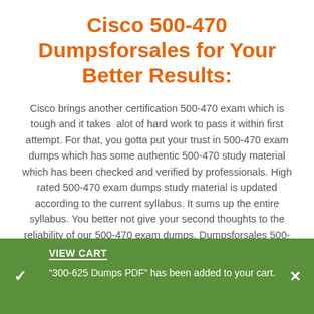Cisco 500-470 Dumpsforsales for Your Better Results:
Cisco brings another certification 500-470 exam which is tough and it takes alot of hard work to pass it within first attempt. For that, you gotta put your trust in 500-470 exam dumps which has some authentic 500-470 study material which has been checked and verified by professionals. High rated 500-470 exam dumps study material is updated according to the current syllabus. It sums up the entire syllabus. You better not give your second thoughts to the reliability of our 500-470 exam dumps. Dumpsforsales 500-470 dumps are the best choice for your last minute preparation.
Dumpsforsales 500-470 Study
VIEW CART
"300-625 Dumps PDF" has been added to your cart.